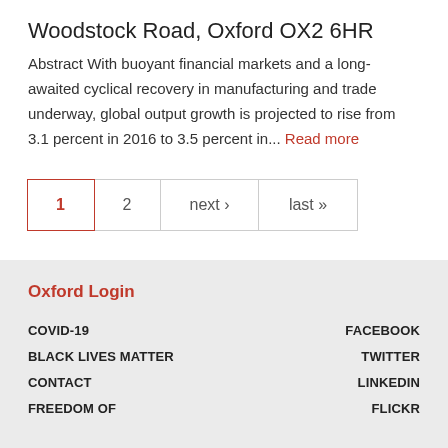Woodstock Road, Oxford OX2 6HR
Abstract With buoyant financial markets and a long-awaited cyclical recovery in manufacturing and trade underway, global output growth is projected to rise from 3.1 percent in 2016 to 3.5 percent in... Read more
1  2  next ›  last »
Oxford Login
COVID-19
BLACK LIVES MATTER
CONTACT
FREEDOM OF
FACEBOOK
TWITTER
LINKEDIN
FLICKR